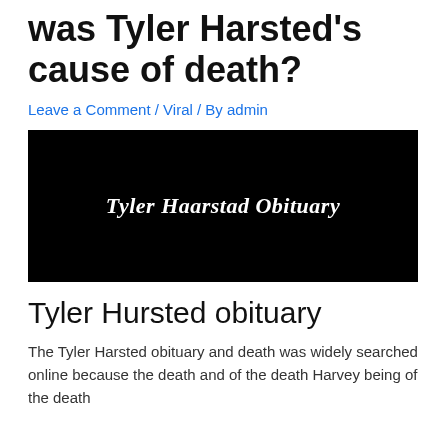was Tyler Harsted's cause of death?
Leave a Comment / Viral / By admin
[Figure (illustration): Black background image with white bold italic text reading 'Tyler Haarstad Obituary']
Tyler Hursted obituary
The Tyler Harsted obituary and death was widely searched online because the death and of the death Harvey being of the death